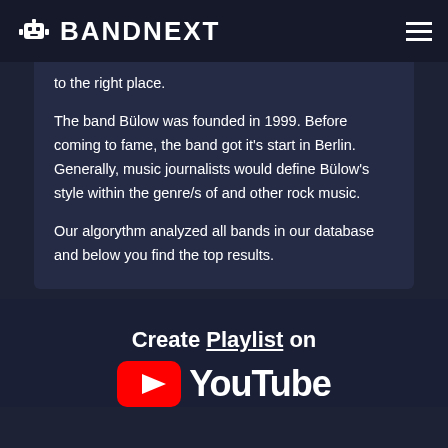BANDNEXT
to the right place.
The band Bülow was founded in 1999. Before coming to fame, the band got it's start in Berlin. Generally, music journalists would define Bülow's style within the genre/s of and other rock music.
Our algorythm analyzed all bands in our database and below you find the top results.
Create Playlist on YouTube